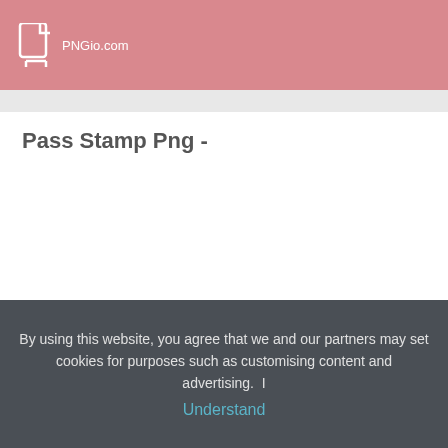PNGio.com
Pass Stamp Png -
By using this website, you agree that we and our partners may set cookies for purposes such as customising content and advertising.  I Understand